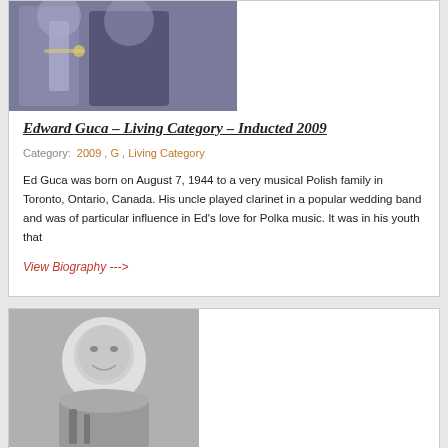[Figure (photo): Color photo of two people, one holding a trumpet, at the top of the first card]
Edward Guca – Living Category – Inducted 2009
Category: 2009, G, Living Category
Ed Guca was born on August 7, 1944 to a very musical Polish family in Toronto, Ontario, Canada. His uncle played clarinet in a popular wedding band and was of particular influence in Ed's love for Polka music. It was in his youth that
View Biography --->
[Figure (photo): Black and white portrait photo of a middle-aged man smiling, holding an instrument, in the second card]